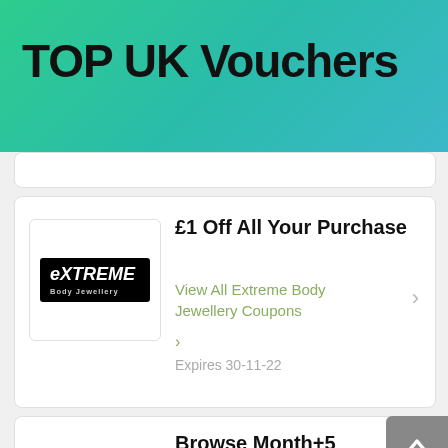TOP UK Vouchers
£1 Off All Your Purchase
View All Extreme Body Jewellery Coupons >
Expires 30-11-22
Browse Month+5 Discount And Sales Venue Cymru
View All Venue Cymru Coupons >